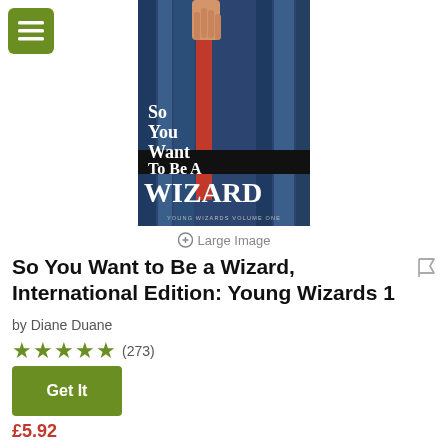[Figure (illustration): Book cover for 'So You Want to Be A WIZARD – Young Wizards Volume One' by Diane Duane, showing a hand pulling a red book from a shelf of dark blue books.]
Large Image
So You Want to Be a Wizard, International Edition: Young Wizards 1
by Diane Duane
★★★★★ (273)
Get It
£5.92
Share This